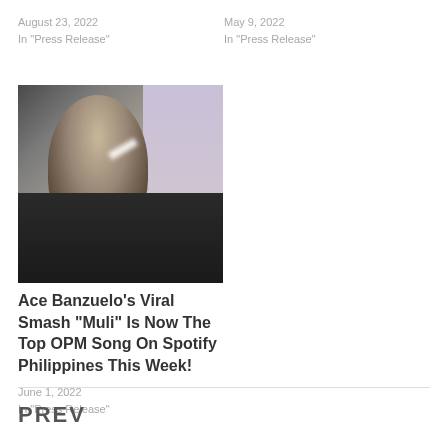August 23, 2022
In "Press Release"
May 9, 2022
In "Press Release"
[Figure (photo): Portrait photo of Ace Banzuelo with dark hair and black outfit, with light glare/highlight effect]
Ace Banzuelo’s Viral Smash “Muli” Is Now The Top OPM Song On Spotify Philippines This Week!
June 1, 2022
In "Press Release"
PREV